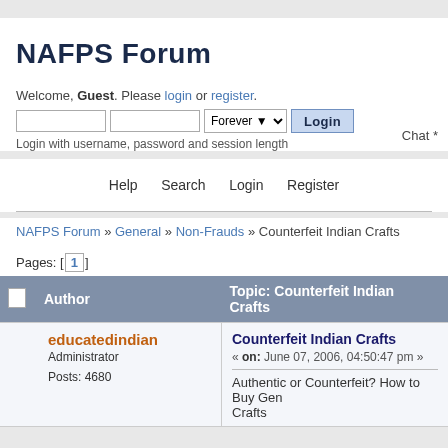NAFPS Forum
Welcome, Guest. Please login or register.
Login with username, password and session length
Chat *
Help   Search   Login   Register
NAFPS Forum » General » Non-Frauds » Counterfeit Indian Crafts
Pages: [1]
| Author | Topic: Counterfeit Indian Crafts |
| --- | --- |
| educatedindian
Administrator

Posts: 4680 | Counterfeit Indian Crafts
« on: June 07, 2006, 04:50:47 pm »
Authentic or Counterfeit? How to Buy Genuine Indian Crafts |
Authentic or Counterfeit? How to Buy Genuine Indian Crafts